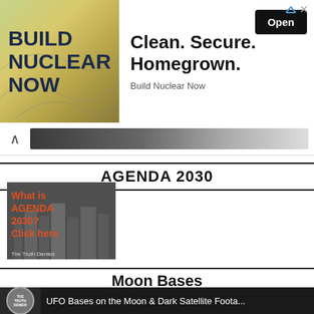[Figure (screenshot): Advertisement banner: left side shows 'BUILD NUCLEAR NOW' text on green/yellow gradient background, right side shows 'Clean. Secure. Homegrown.' tagline with 'Open' button and 'Build Nuclear Now' branding]
[Figure (screenshot): Navigation bar with chevron up arrow on left and dark gradient bar on right]
AGENDA 2030
[Figure (photo): Image showing cityscape with text overlay: 'What is AGENDA 2030? Click here' in orange/red text, with 'The Truth Denied' watermark at bottom]
Moon Bases
[Figure (screenshot): Video thumbnail showing 'THE TRUTH DENIED' channel logo circular icon and title text: 'UFO Bases on the Moon & Dark Satellite Foota...' on dark background]